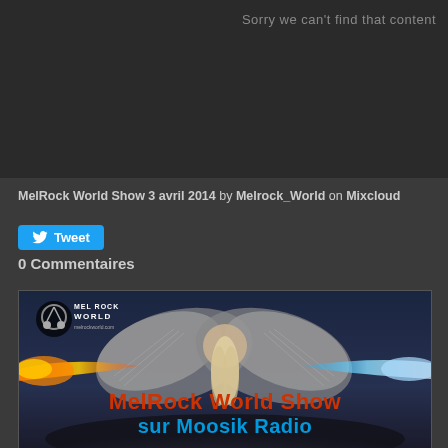[Figure (screenshot): Dark media player embed area with error message 'Sorry we can't find that content']
MelRock World Show 3 avril 2014 by Melrock_World on Mixcloud
Tweet
0 Commentaires
[Figure (photo): MelRock World Show promotional image: angel figure with wings, fire and ice effects, text 'MelRock World Show sur Moosik Radio' with MEL ROCK WORLD logo in top left]